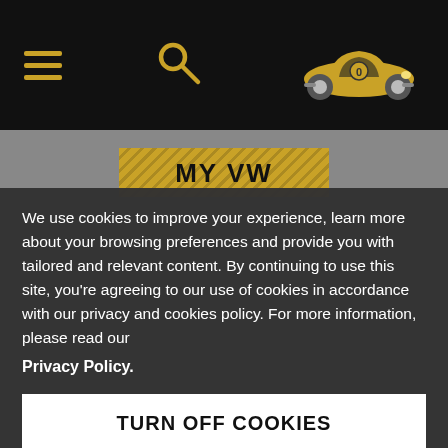[Figure (screenshot): Black navigation bar with hamburger menu icon (three gold lines), a gold search magnifying glass icon, and a gold VW Beetle car illustration with '0' on its side]
MY VW
We use cookies to improve your experience, learn more about your browsing preferences and provide you with tailored and relevant content. By continuing to use this site, you're agreeing to our use of cookies in accordance with our privacy and cookies policy. For more information, please read our
Privacy Policy.
TURN OFF COOKIES
ACCEPT COOKIES